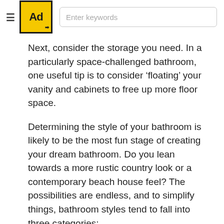≡ [Ad logo] Enter keywords
Next, consider the storage you need. In a particularly space-challenged bathroom, one useful tip is to consider ‘floating’ your vanity and cabinets to free up more floor space.
Determining the style of your bathroom is likely to be the most fun stage of creating your dream bathroom. Do you lean towards a more rustic country look or a contemporary beach house feel? The possibilities are endless, and to simplify things, bathroom styles tend to fall into three categories: